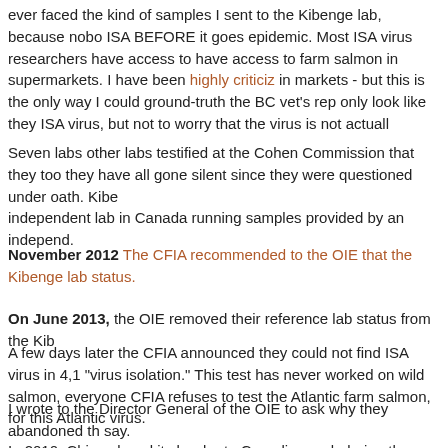ever faced the kind of samples I sent to the Kibenge lab, because nobody tests ISA BEFORE it goes epidemic. Most ISA virus researchers have access to have access to farm salmon in supermarkets. I have been highly criticized in markets - but this is the only way I could ground-truth the BC vet's rep only look like they ISA virus, but not to worry that the virus is not actually
Seven labs other labs testified at the Cohen Commission that they too they have all gone silent since they were questioned under oath. Kiben independent lab in Canada running samples provided by an independ.
November 2012 The CFIA recommended to the OIE that the Kibenge lab status.
On June 2013, the OIE removed their reference lab status from the Kib
A few days later the CFIA announced they could not find ISA virus in 4,1 "virus isolation." This test has never worked on wild salmon, everyone CFIA refuses to test the Atlantic farm salmon, for this Atlantic virus.
I wrote to the Director General of the OIE to ask why they abandoned th say.
In 2010, China closed its border to Canadian pork during the H1N1 influ government press release, Canada reopened the pork border to China negotiation of "supplementary certification requirements," from the O